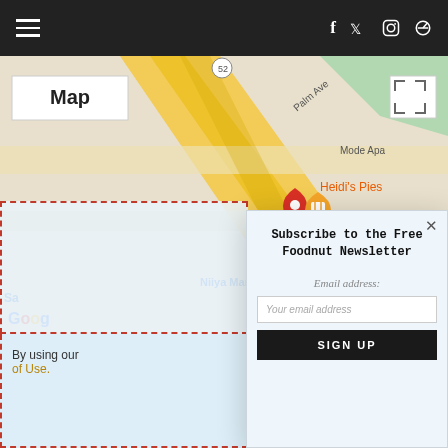Navigation bar with hamburger menu, social icons (f, twitter, instagram), and search icon
[Figure (map): Google Maps screenshot showing street map with Heidi's Pies label, map pins (red and orange), Palm Ave, Mode Apa, and Google logo. Map label overlay reads 'Map'. Expand icon top right.]
Subscribe to the Free Foodnut Newsletter
Email address:
Your email address
SIGN UP
By using our
of Use.